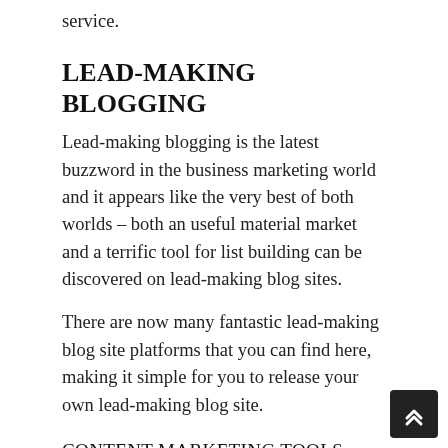service.
LEAD-MAKING BLOGGING
Lead-making blogging is the latest buzzword in the business marketing world and it appears like the very best of both worlds – both an useful material market and a terrific tool for list building can be discovered on lead-making blog sites.
There are now many fantastic lead-making blog site platforms that you can find here, making it simple for you to release your own lead-making blog site.
CONTENT MARKETING TOOLS AND SERVICES
Content marketing is an excellent way to get your business on the best side of the fence and there are a whole variety of tools you can use for material marketing that can help your business will